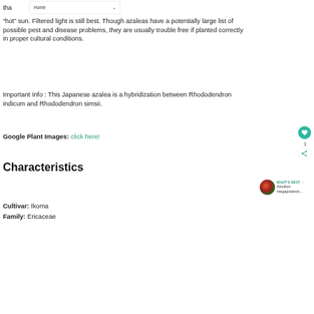Home
“hot” sun. Filtered light is still best. Though azaleas have a potentially large list of possible pest and disease problems, they are usually trouble free if planted correctly in proper cultural conditions.
Important Info : This Japanese azalea is a hybridization between Rhododendron indicum and Rhododendron simsii.
Google Plant Images: click here!
Characteristics
Cultivar: Ikoma
Family: Ericaceae